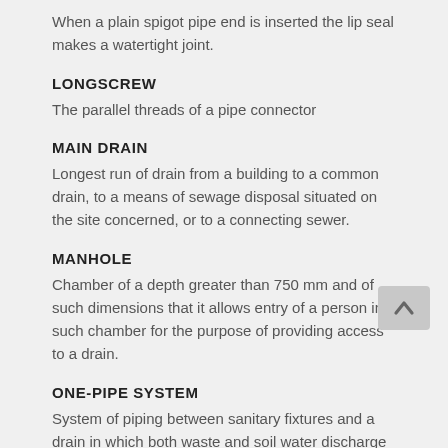When a plain spigot pipe end is inserted the lip seal makes a watertight joint.
LONGSCREW
The parallel threads of a pipe connector
MAIN DRAIN
Longest run of drain from a building to a common drain, to a means of sewage disposal situated on the site concerned, or to a connecting sewer.
MANHOLE
Chamber of a depth greater than 750 mm and of such dimensions that it allows entry of a person into such chamber for the purpose of providing access to a drain.
ONE-PIPE SYSTEM
System of piping between sanitary fixtures and a drain in which both waste and soil water discharge down a common discharge stack and in which any trap venting, or other venting that is